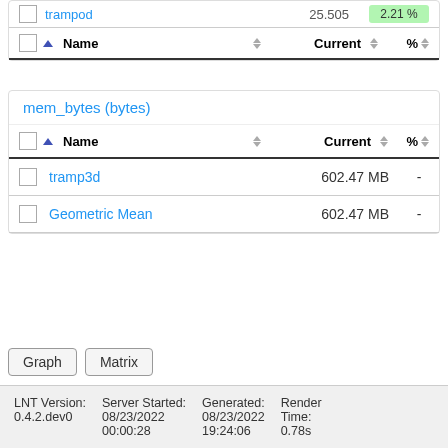| Name | Current | % |
| --- | --- | --- |
| trampod | 25.505 | 2.21% |
| Name | Current | % |
| --- | --- | --- |
| tramp3d | 602.47 MB | - |
| Geometric Mean | 602.47 MB | - |
mem_bytes (bytes)
Graph  Matrix
LNT Version: 0.4.2.dev0   Server Started: 08/23/2022 00:00:28   Generated: 08/23/2022 19:24:06   Render Time: 0.78s